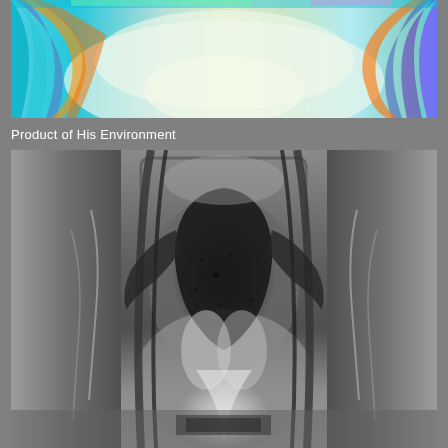[Figure (photo): Top portion of a colorful digital art image showing abstract forms with cyan, blue, gold/orange, green, and purple color streaks against a light background, appearing to be the upper portion of an insect or abstract face]
Product of His Environment
[Figure (photo): Large grayscale digital art image showing an abstract or digitally manipulated close-up of what appears to be an insect or abstract face rendered in high contrast black and white with flowing, liquid-like forms]